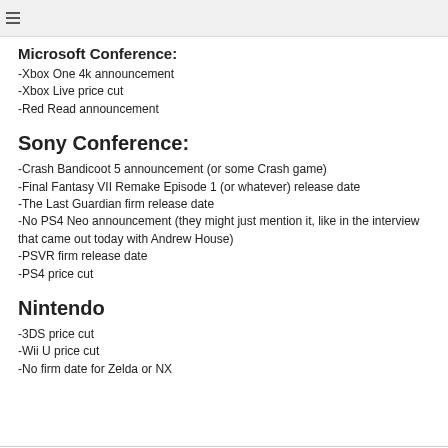Microsoft Conference:
-Xbox One 4k announcement
-Xbox Live price cut
-Red Read announcement
Sony Conference:
-Crash Bandicoot 5 announcement (or some Crash game)
-Final Fantasy VII Remake Episode 1 (or whatever) release date
-The Last Guardian firm release date
-No PS4 Neo announcement (they might just mention it, like in the interview that came out today with Andrew House)
-PSVR firm release date
-PS4 price cut
Nintendo
-3DS price cut
-Wii U price cut
-No firm date for Zelda or NX